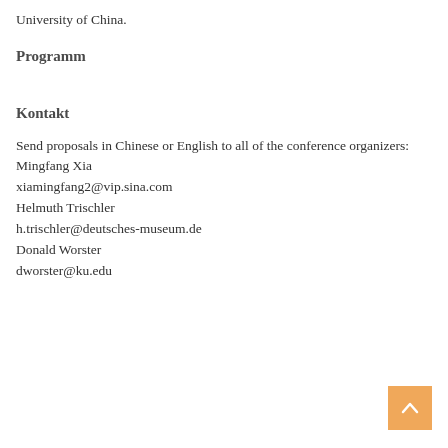University of China.
Programm
Kontakt
Send proposals in Chinese or English to all of the conference organizers:
Mingfang Xia
xiamingfang2@vip.sina.com
Helmuth Trischler
h.trischler@deutsches-museum.de
Donald Worster
dworster@ku.edu